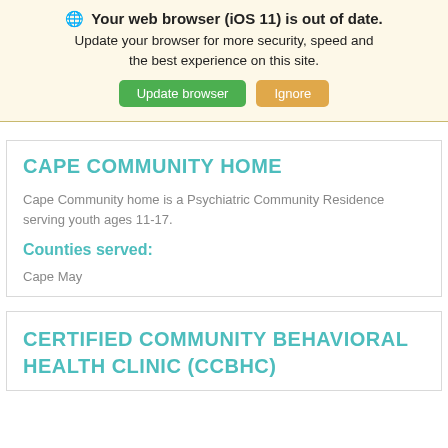[Figure (screenshot): Browser update warning banner with globe icon, bold title 'Your web browser (iOS 11) is out of date.', body text 'Update your browser for more security, speed and the best experience on this site.', and two buttons: green 'Update browser' and orange 'Ignore'.]
CAPE COMMUNITY HOME
Cape Community home is a Psychiatric Community Residence serving youth ages 11-17.
Counties served:
Cape May
CERTIFIED COMMUNITY BEHAVIORAL HEALTH CLINIC (CCBHC)